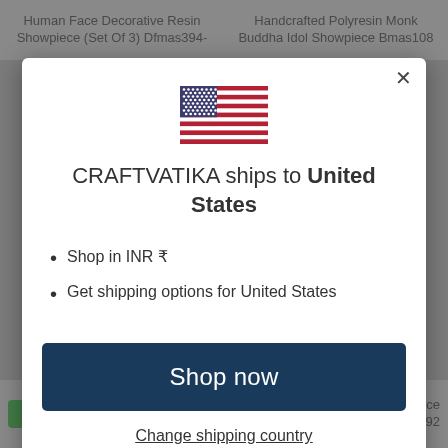Human Face Decorative Resin Showpiece (Set Of 3) Dfmas394- | Handcrafted Polyresin Monk Buddha Idol Showpiece Bmas108
[Figure (screenshot): Modal dialog showing CRAFTVATIKA ships to United States with US flag, bullet points about INR currency and shipping options, Shop now button, and Change shipping country link]
CRAFTVATIKA ships to United States
Shop in INR ₹
Get shipping options for United States
Shop now
Change shipping country
INR  ₹ 349.00 INR  Iron Dholak Pen Stand Holder Showpiece Dfms392